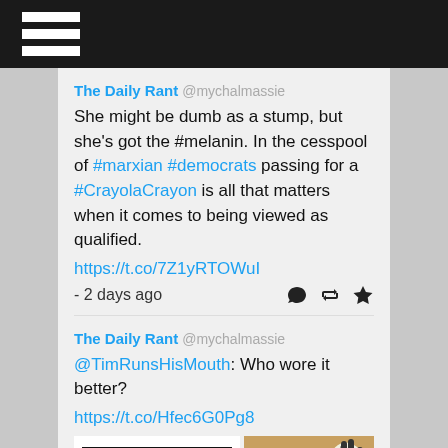☰ (hamburger menu icon)
The Daily Rant @mychalmassie
She might be dumb as a stump, but she's got the #melanin. In the cesspool of #marxian #democrats passing for a #CrayolaCrayon is all that matters when it comes to being viewed as qualified.
https://t.co/7Z1yRTOWuI
- 2 days ago
The Daily Rant @mychalmassie
@TimRunsHisMouth: Who wore it better?
https://t.co/Hfec6G0Pg8
[Figure (photo): Two side-by-side images: left image shows horizontal black stripes on white background (redacted/blurred image), right image shows a zebra photo with tan/golden background]